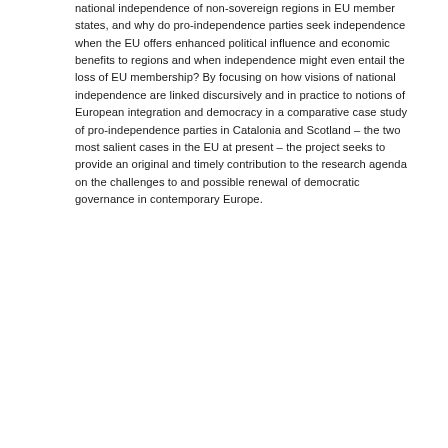national independence of non-sovereign regions in EU member states, and why do pro-independence parties seek independence when the EU offers enhanced political influence and economic benefits to regions and when independence might even entail the loss of EU membership? By focusing on how visions of national independence are linked discursively and in practice to notions of European integration and democracy in a comparative case study of pro-independence parties in Catalonia and Scotland – the two most salient cases in the EU at present – the project seeks to provide an original and timely contribution to the research agenda on the challenges to and possible renewal of democratic governance in contemporary Europe.